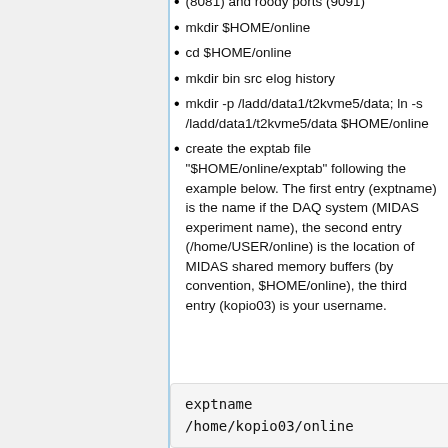(8081) and roody ports (9091)
mkdir $HOME/online
cd $HOME/online
mkdir bin src elog history
mkdir -p /ladd/data1/t2kvme5/data; ln -s /ladd/data1/t2kvme5/data $HOME/online
create the exptab file "$HOME/online/exptab" following the example below. The first entry (exptname) is the name if the DAQ system (MIDAS experiment name), the second entry (/home/USER/online) is the location of MIDAS shared memory buffers (by convention, $HOME/online), the third entry (kopio03) is your username.
exptname
/home/kopio03/online